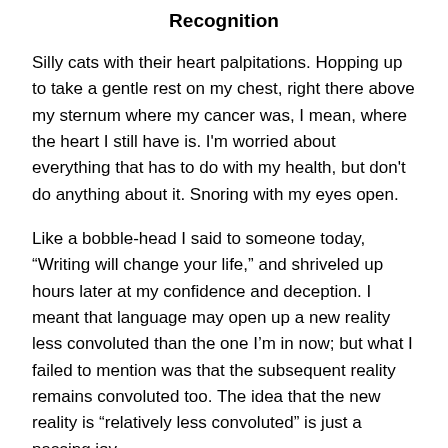Recognition
Silly cats with their heart palpitations. Hopping up to take a gentle rest on my chest, right there above my sternum where my cancer was, I mean, where the heart I still have is. I'm worried about everything that has to do with my health, but don't do anything about it. Snoring with my eyes open.
Like a bobble-head I said to someone today, “Writing will change your life,” and shriveled up hours later at my confidence and deception. I meant that language may open up a new reality less convoluted than the one I’m in now; but what I failed to mention was that the subsequent reality remains convoluted too. The idea that the new reality is “relatively less convoluted” is just a passing joy.